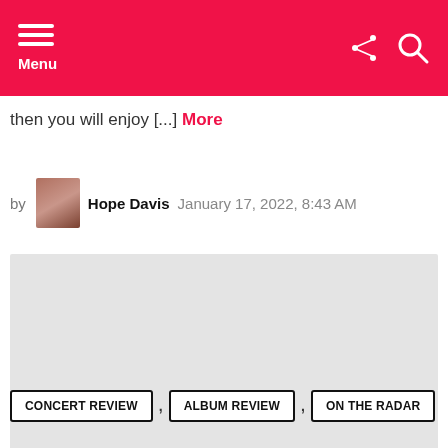Menu
then you will enjoy [...] More
by Hope Davis January 17, 2022, 8:43 AM
[Figure (other): Gray placeholder advertisement block]
151 Shares
CONCERT REVIEW , ALBUM REVIEW , ON THE RADAR